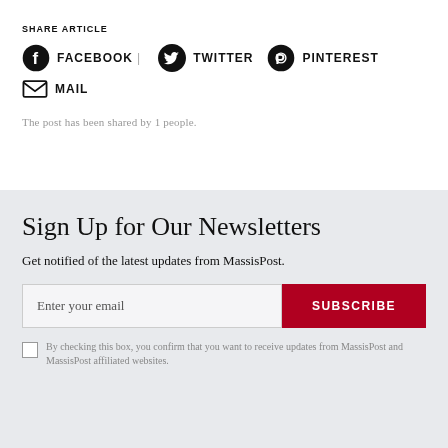SHARE ARTICLE
FACEBOOK | TWITTER PINTEREST MAIL
The post has been shared by 1 people.
Sign Up for Our Newsletters
Get notified of the latest updates from MassisPost.
Enter your email SUBSCRIBE
By checking this box, you confirm that you want to receive updates from MassisPost and MassisPost affiliated websites.